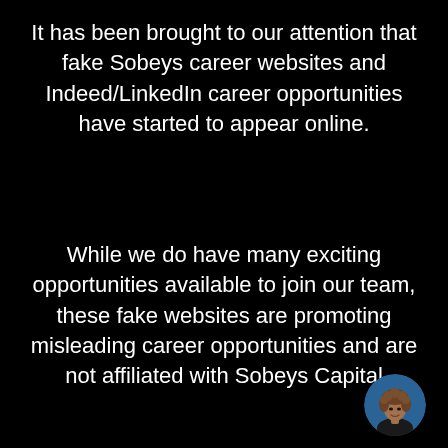It has been brought to our attention that fake Sobeys career websites and Indeed/LinkedIn career opportunities have started to appear online.
While we do have many exciting opportunities available to join our team, these fake websites are promoting misleading career opportunities and are not affiliated with Sobeys Capital
[Figure (photo): Small circular avatar portrait photo of a person with curly hair, against a blue background, positioned at bottom right corner]